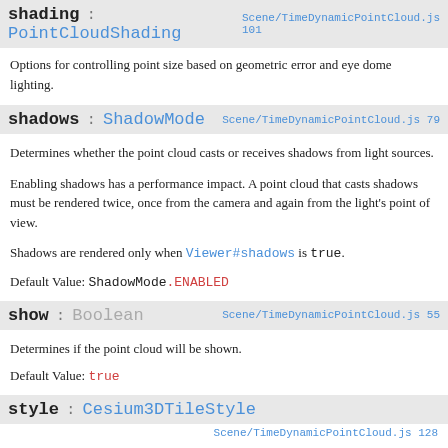shading : PointCloudShading  Scene/TimeDynamicPointCloud.js 101
Options for controlling point size based on geometric error and eye dome lighting.
shadows : ShadowMode  Scene/TimeDynamicPointCloud.js 79
Determines whether the point cloud casts or receives shadows from light sources.
Enabling shadows has a performance impact. A point cloud that casts shadows must be rendered twice, once from the camera and again from the light's point of view.
Shadows are rendered only when Viewer#shadows is true.
Default Value: ShadowMode.ENABLED
show : Boolean  Scene/TimeDynamicPointCloud.js 55
Determines if the point cloud will be shown.
Default Value: true
style : Cesium3DTileStyle  Scene/TimeDynamicPointCloud.js 128
The style, defined using the 3D Tiles Styling language, applied to each point in the point cloud.